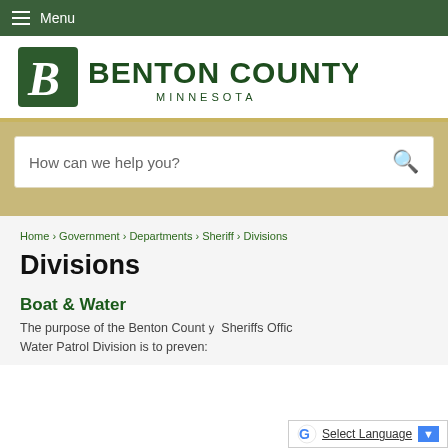Menu
[Figure (logo): Benton County Minnesota logo with stylized B on green state shape]
How can we help you?
Home › Government › Departments › Sheriff › Divisions
Divisions
Boat & Water
The purpose of the Benton County Sheriff's Office Water Patrol Division is to preven: